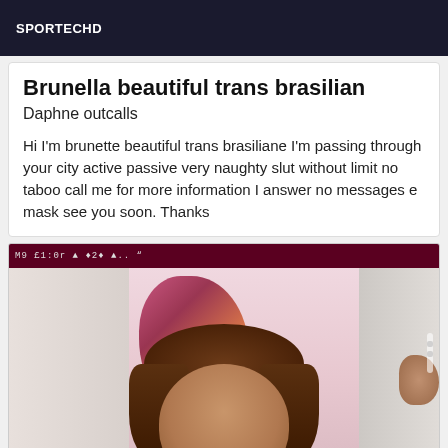SPORTECHD
Brunella beautiful trans brasilian
Daphne outcalls
Hi I'm brunette beautiful trans brasiliane I'm passing through your city active passive very naughty slut without limit no taboo call me for more information I answer no messages e mask see you soon. Thanks
[Figure (photo): Selfie-style photo of a person with long brown hair, partial face visible from top of head, taken in a room with pink wall and colorful artwork in background. Status bar visible at top showing time and icons.]